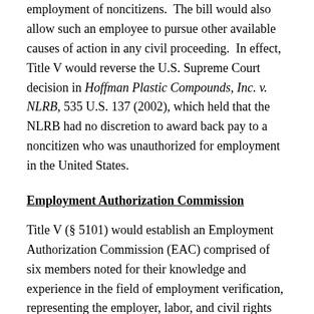employment of noncitizens. The bill would also allow such an employee to pursue other available causes of action in any civil proceeding. In effect, Title V would reverse the U.S. Supreme Court decision in Hoffman Plastic Compounds, Inc. v. NLRB, 535 U.S. 137 (2002), which held that the NLRB had no discretion to award back pay to a noncitizen who was unauthorized for employment in the United States.
Employment Authorization Commission
Title V (§ 5101) would establish an Employment Authorization Commission (EAC) comprised of six members noted for their knowledge and experience in the field of employment verification, representing the employer, labor, and civil rights communities. The EAC would (A) make recommendations to the